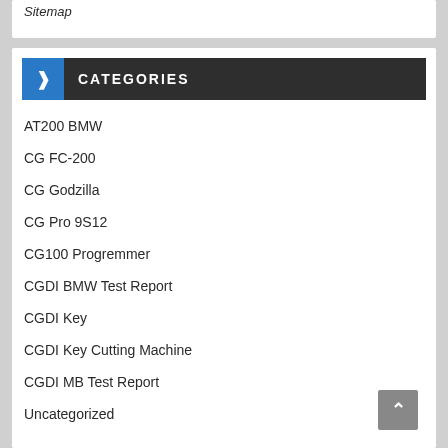Sitemap
CATEGORIES
AT200 BMW
CG FC-200
CG Godzilla
CG Pro 9S12
CG100 Progremmer
CGDI BMW Test Report
CGDI Key
CGDI Key Cutting Machine
CGDI MB Test Report
Uncategorized